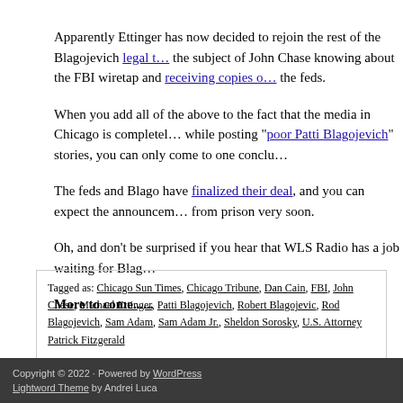Apparently Ettinger has now decided to rejoin the rest of the Blagojevich legal t… the subject of John Chase knowing about the FBI wiretap and receiving copies o… the feds.
When you add all of the above to the fact that the media in Chicago is completel… while posting "poor Patti Blagojevich" stories, you can only come to one conclu…
The feds and Blago have finalized their deal, and you can expect the announcem… from prison very soon.
Oh, and don't be surprised if you hear that WLS Radio has a job waiting for Blag…
More to come......
Tagged as: Chicago Sun Times, Chicago Tribune, Dan Cain, FBI, John Chase, Michael Ettinger, Patti Blagojevich, Robert Blagojevic, Rod Blagojevich, Sam Adam, Sam Adam Jr., Sheldon Sorosky, U.S. Attorney Patrick Fitzgerald
Copyright © 2022 · Powered by WordPress · Lightword Theme by Andrei Luca